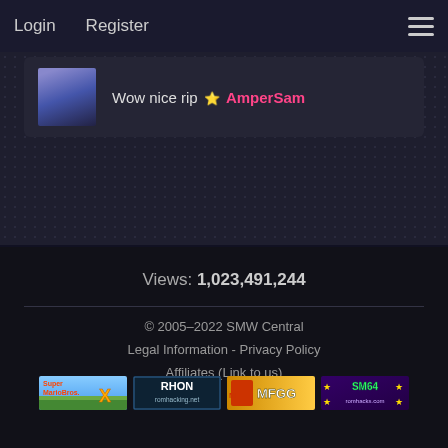Login  Register
Wow nice rip ☆ AmperSam
Views: 1,023,491,244
© 2005–2022 SMW Central
Legal Information - Privacy Policy
Affiliates (Link to us)
[Figure (other): Four affiliate banner images: Super Mario Bros X, RHON romhacking.net, MFGG, SM64 romhacks.com]